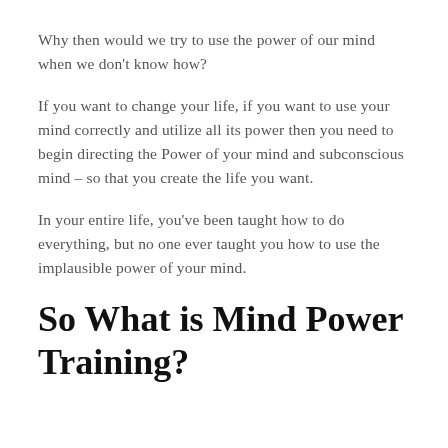Why then would we try to use the power of our mind when we don't know how?
If you want to change your life, if you want to use your mind correctly and utilize all its power then you need to begin directing the Power of your mind and subconscious mind – so that you create the life you want.
In your entire life, you've been taught how to do everything, but no one ever taught you how to use the implausible power of your mind.
So What is Mind Power Training?